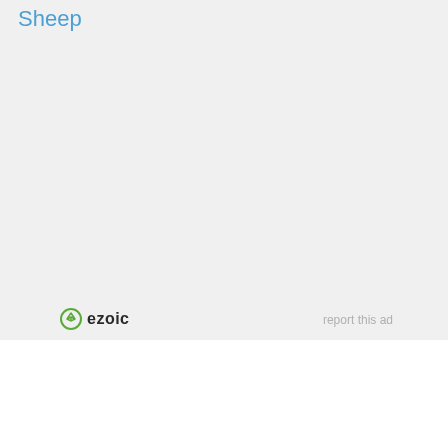Sheep
[Figure (other): Empty advertisement placeholder area with light gray background]
ezoic  report this ad